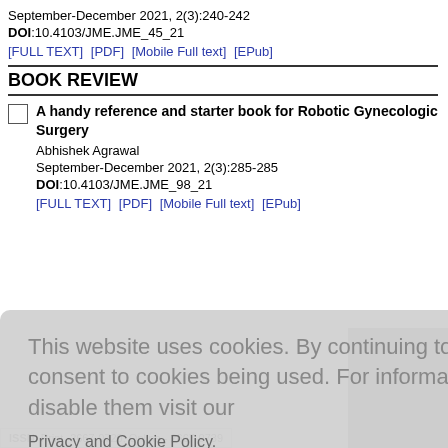September-December 2021, 2(3):240-242
DOI:10.4103/JME.JME_45_21
[FULL TEXT]  [PDF]  [Mobile Full text]  [EPub]
BOOK REVIEW
A handy reference and starter book for Robotic Gynecologic Surgery
Abhishek Agrawal
September-December 2021, 2(3):285-285
DOI:10.4103/JME.JME_98_21
[FULL TEXT]  [PDF]  [Mobile Full text]  [EPub]
This website uses cookies. By continuing to use this website you are giving consent to cookies being used. For information on cookies and how you can disable them visit our
Privacy and Cookie Policy.
AGREE & PROCEED
ISSN: Print -2667-0720, Online - 2667-0739